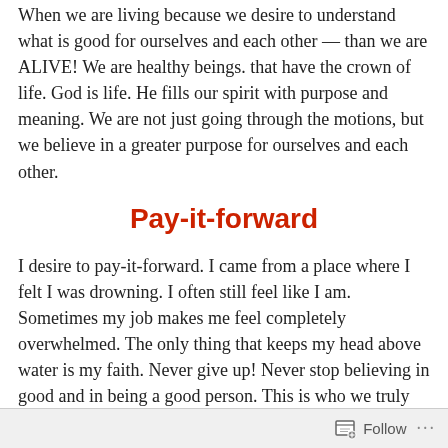When we are living because we desire to understand what is good for ourselves and each other — than we are ALIVE! We are healthy beings. that have the crown of life. God is life. He fills our spirit with purpose and meaning. We are not just going through the motions, but we believe in a greater purpose for ourselves and each other.
Pay-it-forward
I desire to pay-it-forward. I came from a place where I felt I was drowning. I often still feel like I am. Sometimes my job makes me feel completely overwhelmed. The only thing that keeps my head above water is my faith. Never give up! Never stop believing in good and in being a good person. This is who we truly are.
Follow